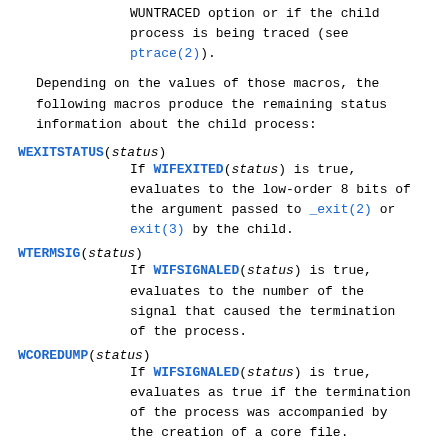WUNTRACED option or if the child process is being traced (see ptrace(2)).
Depending on the values of those macros, the following macros produce the remaining status information about the child process:
WEXITSTATUS(status) - If WIFEXITED(status) is true, evaluates to the low-order 8 bits of the argument passed to _exit(2) or exit(3) by the child.
WTERMSIG(status) - If WIFSIGNALED(status) is true, evaluates to the number of the signal that caused the termination of the process.
WCOREDUMP(status) - If WIFSIGNALED(status) is true, evaluates as true if the termination of the process was accompanied by the creation of a core file.